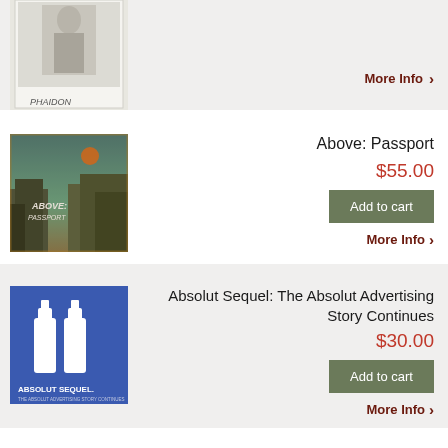[Figure (photo): Partial view of a Phaidon book cover, top portion cut off]
More Info ›
[Figure (photo): Above: Passport book cover - vintage photo of city buildings with teal sky and orange moon]
Above: Passport
$55.00
Add to cart
More Info ›
[Figure (photo): Absolut Sequel book cover - blue background with two white bottle silhouettes and ABSOLUT SEQUEL text]
Absolut Sequel: The Absolut Advertising Story Continues
$30.00
Add to cart
More Info ›